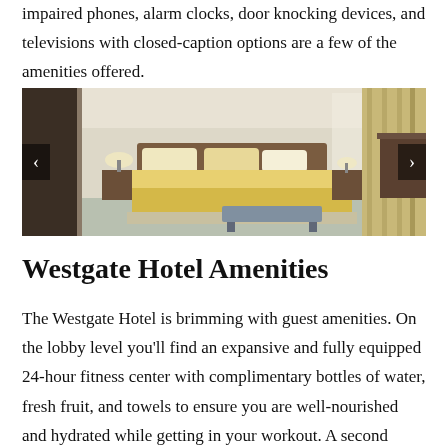impaired phones, alarm clocks, door knocking devices, and televisions with closed-caption options are a few of the amenities offered.
[Figure (photo): Hotel room interior showing a king bed with gold/yellow bedding and pillows, nightstands with lamps, a bench at the foot of the bed, curtains, and a desk area. Navigation arrows visible on left and right sides.]
Westgate Hotel Amenities
The Westgate Hotel is brimming with guest amenities. On the lobby level you'll find an expansive and fully equipped 24-hour fitness center with complimentary bottles of water, fresh fruit, and towels to ensure you are well-nourished and hydrated while getting in your workout. A second fitness option is on the hotel's rooftop. Enjoy the heated lap pool